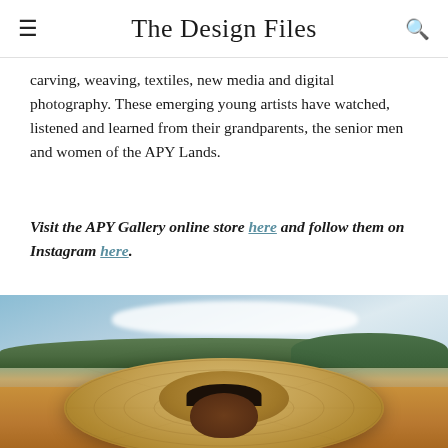The Design Files
carving, weaving, textiles, new media and digital photography. These emerging young artists have watched, listened and learned from their grandparents, the senior men and women of the APY Lands.
Visit the APY Gallery online store here and follow them on Instagram here.
[Figure (photo): Outdoor photograph of an elderly Aboriginal woman wearing a very large wide-brimmed woven straw/raffia hat that covers most of her face. She is standing outside with a blue sky, white clouds, green trees and red earth visible in the background.]